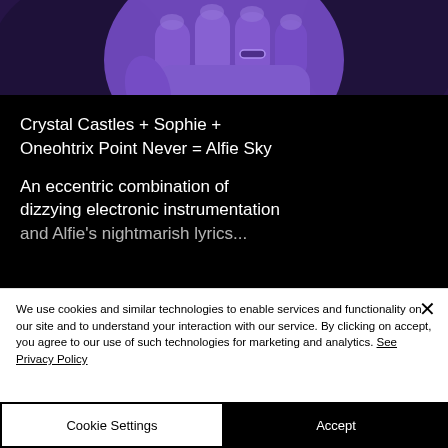[Figure (photo): A purple-tinted close-up photo of a hand with a ring, set against a dark background. Below the photo portion is a black card overlay with white text reading 'Crystal Castles + Sophie + Oneohtrix Point Never = Alfie Sky' and 'An eccentric combination of dizzying electronic instrumentation and Alfie's nightmarish lyrics...']
We use cookies and similar technologies to enable services and functionality on our site and to understand your interaction with our service. By clicking on accept, you agree to our use of such technologies for marketing and analytics. See Privacy Policy
Cookie Settings
Accept